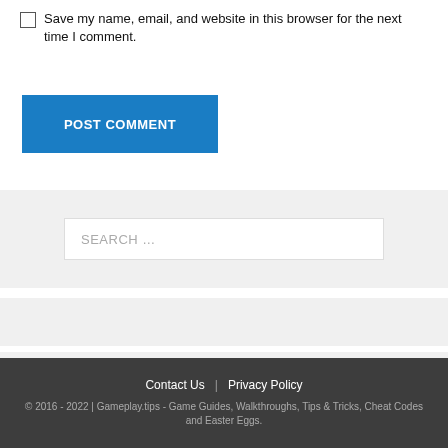Save my name, email, and website in this browser for the next time I comment.
POST COMMENT
SEARCH …
Contact Us | Privacy Policy
© 2016 - 2022 | Gameplay.tips - Game Guides, Walkthroughs, Tips & Tricks, Cheat Codes and Easter Eggs.